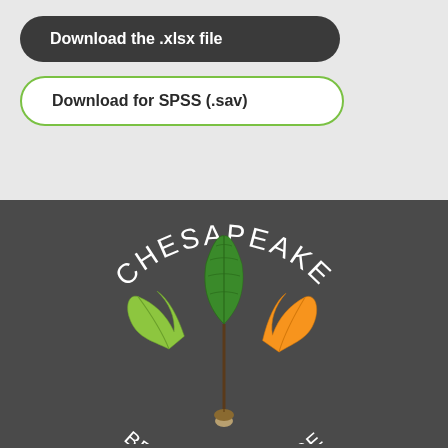Download the .xlsx file
Download for SPSS (.sav)
[Figure (logo): Chesapeake Behavior Change logo: oak leaves (green and orange) with an acorn, text arched above reading CHESAPEAKE and below reading BEHAVIOR CHANGE, on dark gray background]